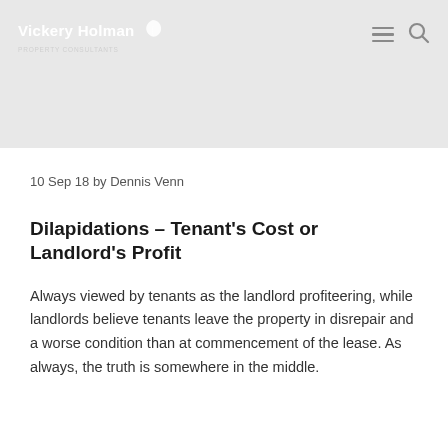Vickery Holman Property Consultants
10 Sep 18 by Dennis Venn
Dilapidations – Tenant's Cost or Landlord's Profit
Always viewed by tenants as the landlord profiteering, while landlords believe tenants leave the property in disrepair and a worse condition than at commencement of the lease. As always, the truth is somewhere in the middle.